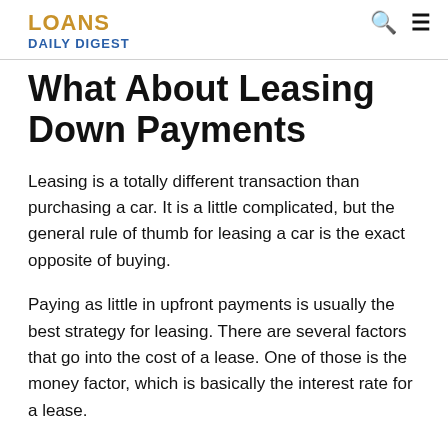LOANS DAILY DIGEST
What About Leasing Down Payments
Leasing is a totally different transaction than purchasing a car. It is a little complicated, but the general rule of thumb for leasing a car is the exact opposite of buying.
Paying as little in upfront payments is usually the best strategy for leasing. There are several factors that go into the cost of a lease. One of those is the money factor, which is basically the interest rate for a lease.
If the money factor is low, or the car you are leasing has a